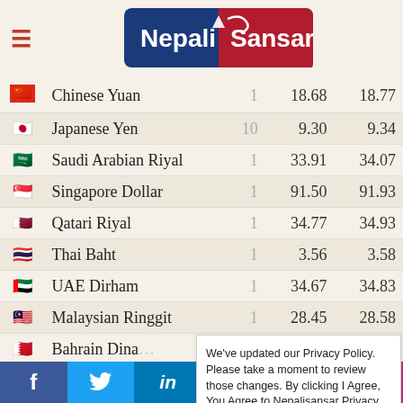[Figure (logo): NepaliSansar logo — blue and red gradient background with white text]
| Flag | Currency | Unit | Buy | Sell |
| --- | --- | --- | --- | --- |
| 🇨🇳 | Chinese Yuan | 1 | 18.68 | 18.77 |
| 🇯🇵 | Japanese Yen | 10 | 9.30 | 9.34 |
| 🇸🇦 | Saudi Arabian Riyal | 1 | 33.91 | 34.07 |
| 🇸🇬 | Singapore Dollar | 1 | 91.50 | 91.93 |
| 🇶🇦 | Qatari Riyal | 1 | 34.77 | 34.93 |
| 🇹🇭 | Thai Baht | 1 | 3.56 | 3.58 |
| 🇦🇪 | UAE Dirham | 1 | 34.67 | 34.83 |
| 🇲🇾 | Malaysian Ringgit | 1 | 28.45 | 28.58 |
| 🇧🇭 | Bahrain Dina… |  |  |  |
| 🇰🇼 | Kuwaity Dina… |  |  |  |
| 🇭🇰 | Hong Kong D… |  |  |  |
| 🇸🇪 | Swedish Kro… |  |  |  |
| 🇩🇰 | Danish Krone |  |  |  |
We've updated our Privacy Policy. Please take a moment to review those changes. By clicking I Agree, You Agree to Nepalisansar Privacy Policy and Cookie Policy   Cookie settings   AGREE